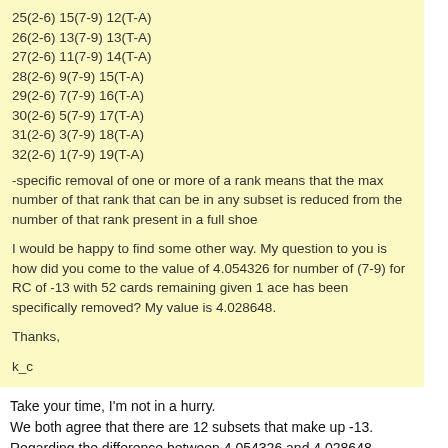25(2-6) 15(7-9) 12(T-A)
26(2-6) 13(7-9) 13(T-A)
27(2-6) 11(7-9) 14(T-A)
28(2-6) 9(7-9) 15(T-A)
29(2-6) 7(7-9) 16(T-A)
30(2-6) 5(7-9) 17(T-A)
31(2-6) 3(7-9) 18(T-A)
32(2-6) 1(7-9) 19(T-A)
-specific removal of one or more of a rank means that the max number of that rank that can be in any subset is reduced from the number of that rank present in a full shoe
I would be happy to find some other way. My question to you is how did you come to the value of 4.054326 for number of (7-9) for RC of -13 with 52 cards remaining given 1 ace has been specifically removed? My value is 4.028648.
Thanks,
k_c
Take your time, I'm not in a hurry.
We both agree that there are 12 subsets that make up -13.
Regarding the difference between 4.054326 and 4.028648,